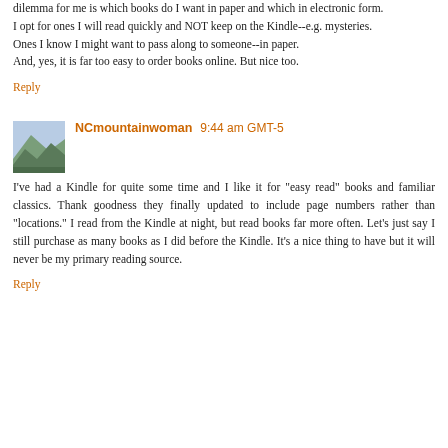dilemma for me is which books do I want in paper and which in electronic form.
I opt for ones I will read quickly and NOT keep on the Kindle--e.g. mysteries.
Ones I know I might want to pass along to someone--in paper.
And, yes, it is far too easy to order books online. But nice too.
Reply
[Figure (photo): Avatar thumbnail of NCmountainwoman, showing a green mountain landscape]
NCmountainwoman 9:44 am GMT-5
I've had a Kindle for quite some time and I like it for "easy read" books and familiar classics. Thank goodness they finally updated to include page numbers rather than "locations." I read from the Kindle at night, but read books far more often. Let's just say I still purchase as many books as I did before the Kindle. It's a nice thing to have but it will never be my primary reading source.
Reply